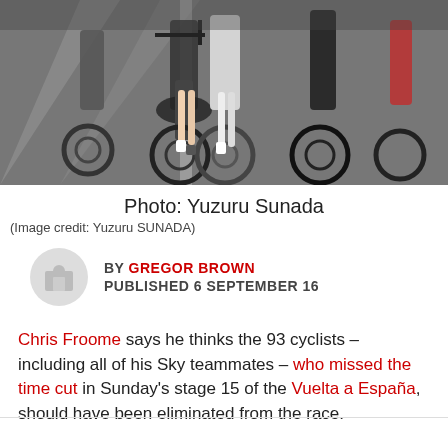[Figure (photo): Cyclists racing on road during a cycling stage race, close-up of legs and bicycle wheels on asphalt]
Photo: Yuzuru Sunada
(Image credit: Yuzuru SUNADA)
BY GREGOR BROWN
PUBLISHED 6 SEPTEMBER 16
Chris Froome says he thinks the 93 cyclists – including all of his Sky teammates – who missed the time cut in Sunday's stage 15 of the Vuelta a España, should have been eliminated from the race.